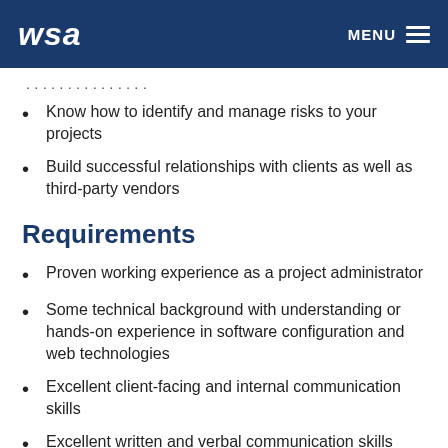WSA | MENU
Know how to identify and manage risks to your projects
Build successful relationships with clients as well as third-party vendors
Requirements
Proven working experience as a project administrator
Some technical background with understanding or hands-on experience in software configuration and web technologies
Excellent client-facing and internal communication skills
Excellent written and verbal communication skills